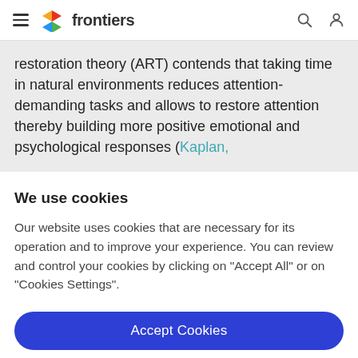frontiers
restoration theory (ART) contends that taking time in natural environments reduces attention-demanding tasks and allows to restore attention thereby building more positive emotional and psychological responses (Kaplan,
We use cookies
Our website uses cookies that are necessary for its operation and to improve your experience. You can review and control your cookies by clicking on "Accept All" or on "Cookies Settings".
Accept Cookies
Cookies Settings